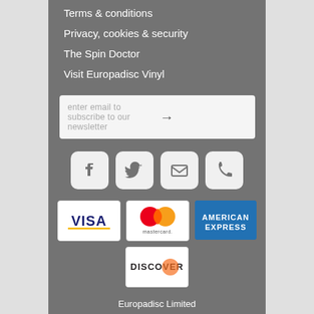Terms & conditions
Privacy, cookies & security
The Spin Doctor
Visit Europadisc Vinyl
enter email to subscribe to our newsletter
[Figure (infographic): Social media icons: Facebook, Twitter, Email, Phone]
[Figure (infographic): Payment logos: Visa, Mastercard, American Express, Discover]
Europadisc Limited
29 Beeston Business Park, Technology Drive,
Nottingham, NG9 1LA, UK